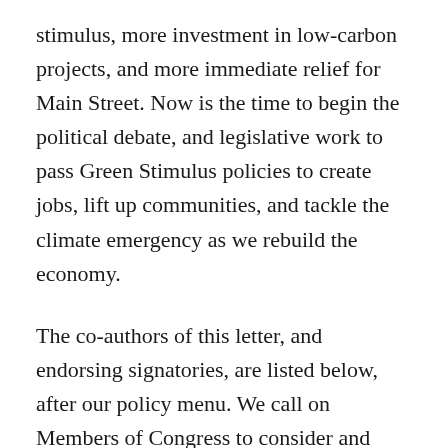stimulus, more investment in low-carbon projects, and more immediate relief for Main Street. Now is the time to begin the political debate, and legislative work to pass Green Stimulus policies to create jobs, lift up communities, and tackle the climate emergency as we rebuild the economy.
The co-authors of this letter, and endorsing signatories, are listed below, after our policy menu. We call on Members of Congress to consider and carry forward these policy ideas in this forthcoming and any future stimulus packages, to ensure addressing current public health crisis doesn't exacerbate the climate crisis.